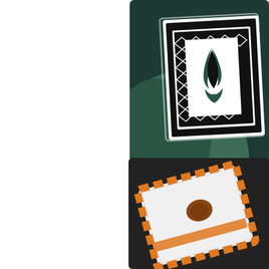[Figure (photo): Craft card with dark teal background featuring an embossed decorative design with lime green layered paper, black and white geometric patterned panel, and a stylized flame or plant motif in black and green on white card stock.]
We loved this embossing
#
[Figure (photo): Craft project on dark background showing a white card or envelope with orange chevron/stripe border trim and a small brown burned or stamped heart or shield shape on the front.]